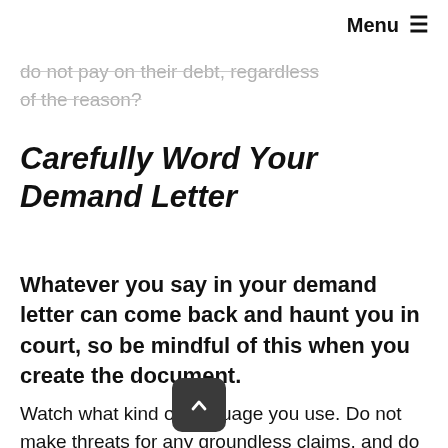Menu ≡
do not pay on their debt, regardless of the reason?
Carefully Word Your Demand Letter
Whatever you say in your demand letter can come back and haunt you in court, so be mindful of this when you create the document.
Watch what kind of language you use. Do not make threats for any groundless claims, and do not make